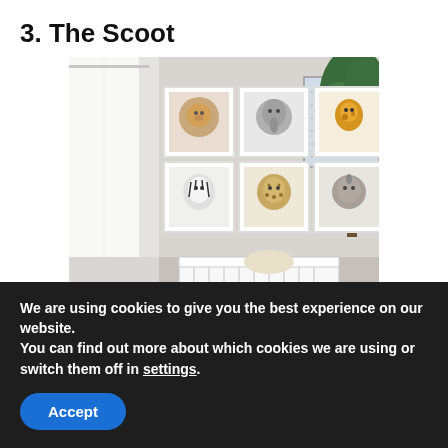3. The Scoot
[Figure (photo): A nursery room with a white crib, six framed animal portrait prints arranged in a 2x3 grid on the wall (lion, elephant, giraffe, zebra, cheetah, rhino), sheer white curtains on the left, and a large green fiddle-leaf fig plant in the right corner.]
We are using cookies to give you the best experience on our website.
You can find out more about which cookies we are using or switch them off in settings.